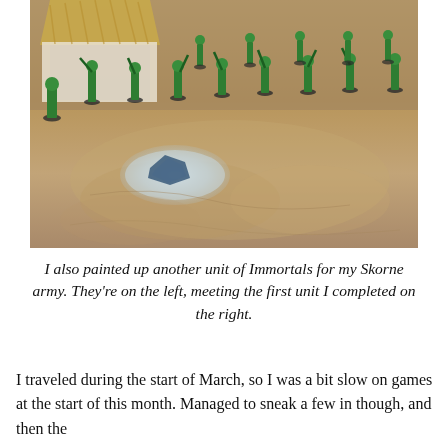[Figure (photo): A tabletop wargame scene showing green miniature warrior figures (Skorne Immortals) arranged on a sandy/stone-textured game mat, with a thatched-roof building visible in the upper left. A fallen/broken piece of blue material is visible in the center foreground.]
I also painted up another unit of Immortals for my Skorne army. They’re on the left, meeting the first unit I completed on the right.
I traveled during the start of March, so I was a bit slow on games at the start of this month. Managed to sneak a few in though, and then the